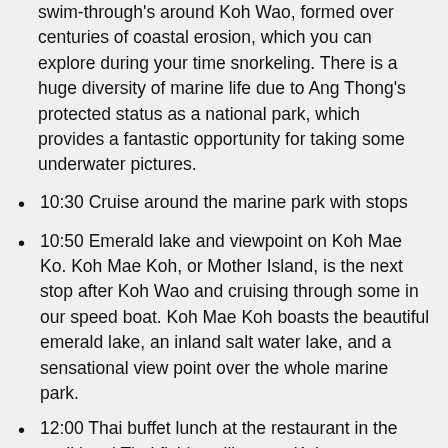swim-through's around Koh Wao, formed over centuries of coastal erosion, which you can explore during your time snorkeling. There is a huge diversity of marine life due to Ang Thong's protected status as a national park, which provides a fantastic opportunity for taking some underwater pictures.
10:30 Cruise around the marine park with stops
10:50 Emerald lake and viewpoint on Koh Mae Ko. Koh Mae Koh, or Mother Island, is the next stop after Koh Wao and cruising through some in our speed boat. Koh Mae Koh boasts the beautiful emerald lake, an inland salt water lake, and a sensational view point over the whole marine park.
12:00 Thai buffet lunch at the restaurant in the traditional Thai fishing village on Koh